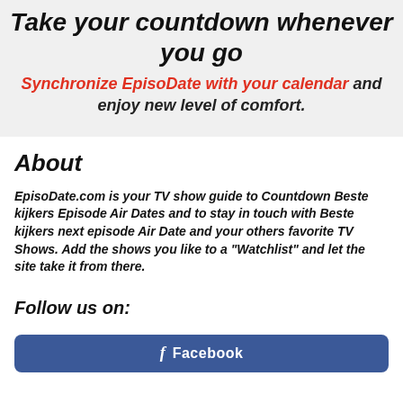Take your countdown whenever you go
Synchronize EpisoDate with your calendar and enjoy new level of comfort.
About
EpisoDate.com is your TV show guide to Countdown Beste kijkers Episode Air Dates and to stay in touch with Beste kijkers next episode Air Date and your others favorite TV Shows. Add the shows you like to a "Watchlist" and let the site take it from there.
Follow us on:
[Figure (other): Facebook button with blue background and Facebook label]